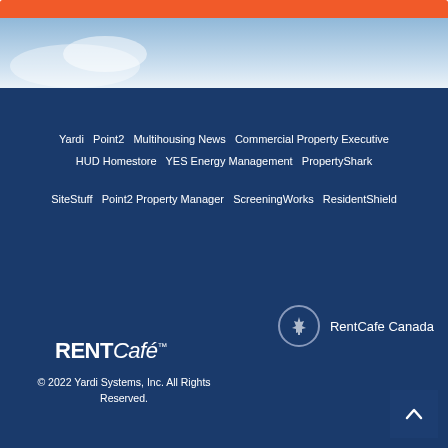[Figure (other): Orange button/bar at top of page]
[Figure (photo): Sky background image with light blue gradient]
Yardi  Point2  Multihousing News  Commercial Property Executive  HUD Homestore  YES Energy Management  PropertyShark
SiteStuff  Point2 Property Manager  ScreeningWorks  ResidentShield
[Figure (logo): RentCafe Canada logo with maple leaf circle icon]
[Figure (logo): RENTCafe™ logo]
© 2022 Yardi Systems, Inc. All Rights Reserved.